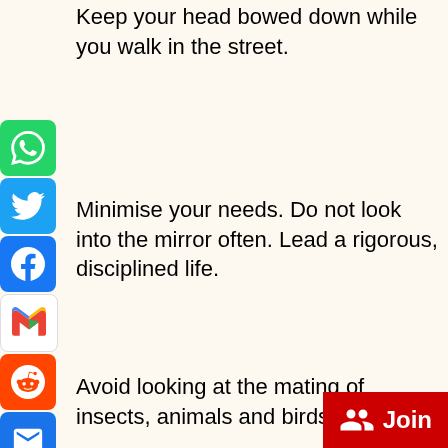Keep your head bowed down while you walk in the street.
Minimise your needs. Do not look into the mirror often. Lead a rigorous, disciplined life.
Avoid looking at the mating of insects, animals and birds.
Do not ride too much on a bicycle.
Root out love of leisure and ease. Overcome laziness and always be engaged in some useful work. Let the mind be always occupied in the study of spiritual literature or some active work along useful lines. Let there be no time for idle